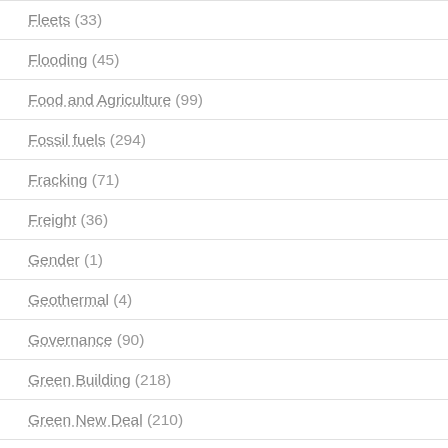Fleets (33)
Flooding (45)
Food and Agriculture (99)
Fossil fuels (294)
Fracking (71)
Freight (36)
Gender (1)
Geothermal (4)
Governance (90)
Green Building (218)
Green New Deal (210)
Grid (...)